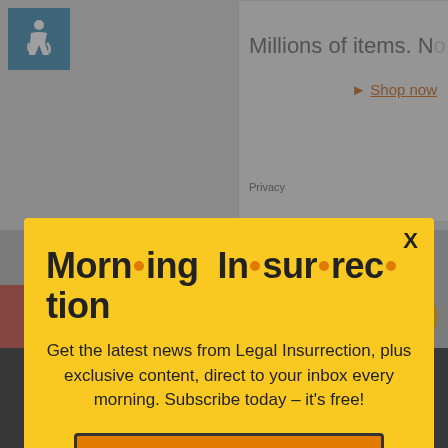[Figure (screenshot): Background page showing accessible icon, Amazon ad with 'Millions of items. No' and 'Shop now' link, Privacy text, red strip on left, Fiverr ad bar at bottom, close button, back-to-top circle]
Morn·ing In·sur·rec·tion
Get the latest news from Legal Insurrection, plus exclusive content, direct to your inbox every morning. Subscribe today – it's free!
JOIN NOW